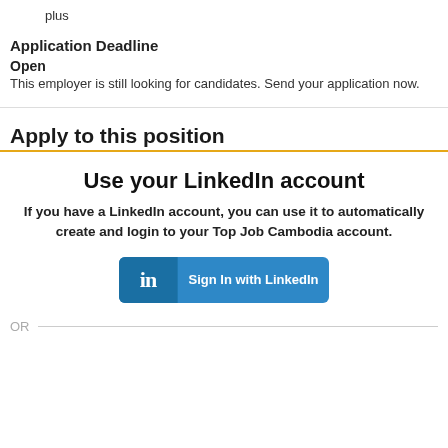plus
Application Deadline
Open
This employer is still looking for candidates. Send your application now.
Apply to this position
Use your LinkedIn account
If you have a LinkedIn account, you can use it to automatically create and login to your Top Job Cambodia account.
[Figure (other): LinkedIn Sign In button with 'in' logo and text 'Sign In with LinkedIn']
OR